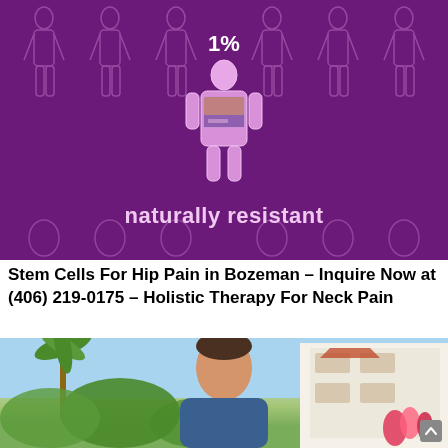[Figure (infographic): Purple/violet background infographic showing multiple human body silhouettes in outline, with one highlighted center figure (brighter pink/purple) holding a small image/sign. Text '1%' above the center figure and 'naturally resistant' below it.]
Stem Cells For Hip Pain in Bozeman – Inquire Now at (406) 219-0175 – Holistic Therapy For Neck Pain
[Figure (photo): Outdoor photo showing a man smiling at the camera in a tropical/resort setting, with palm trees, lush greenery, pink tropical flowers, and a white multi-story building with balconies in the background.]